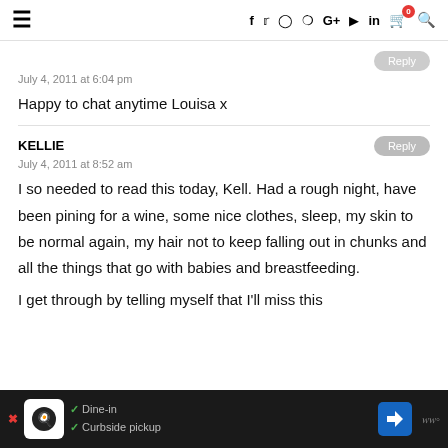≡  f  twitter  instagram  pinterest  G+  youtube  in  cart(0)  search
July 4, 2011 at 6:04 pm
Happy to chat anytime Louisa x
KELLIE
July 4, 2011 at 8:52 am
I so needed to read this today, Kell. Had a rough night, have been pining for a wine, some nice clothes, sleep, my skin to be normal again, my hair not to keep falling out in chunks and all the things that go with babies and breastfeeding.
I get through by telling myself that I'll miss this phase one day...